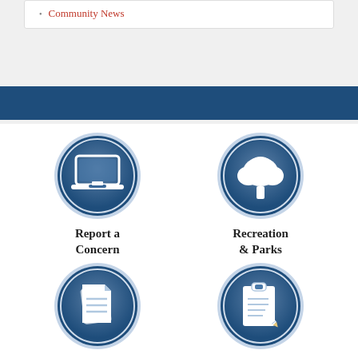Community News
[Figure (illustration): Blue circular icon with laptop/computer symbol - Report a Concern]
Report a Concern
[Figure (illustration): Blue circular icon with tree symbol - Recreation & Parks]
Recreation & Parks
[Figure (illustration): Blue circular icon with documents/papers symbol]
[Figure (illustration): Blue circular icon with clipboard/form symbol]